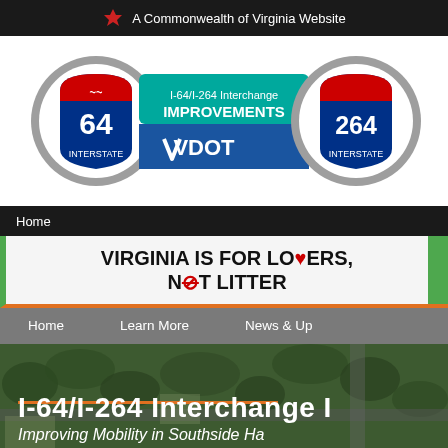A Commonwealth of Virginia Website
[Figure (logo): I-64/I-264 Interchange Improvements VDOT logo with two interstate highway shields numbered 64 and 264]
Home
[Figure (infographic): Virginia is for Lovers, Not Litter banner]
Home   Learn More   News & Up
[Figure (photo): Aerial photo of I-64/I-264 Interchange area, Southside Hampton Roads]
I-64/I-264 Interchange I
Improving Mobility in Southside Ha